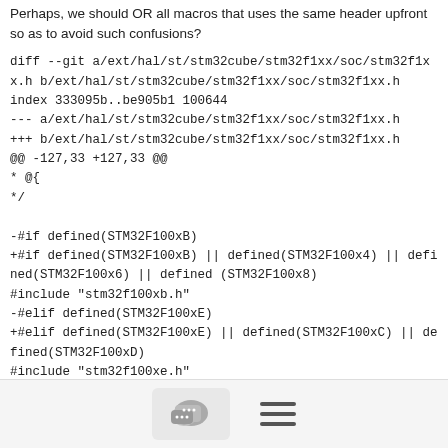Perhaps, we should OR all macros that uses the same header upfront so as to avoid such confusions?
diff --git a/ext/hal/st/stm32cube/stm32f1xx/soc/stm32f1xx.h b/ext/hal/st/stm32cube/stm32f1xx/soc/stm32f1xx.h
index 333095b..be905b1 100644
--- a/ext/hal/st/stm32cube/stm32f1xx/soc/stm32f1xx.h
+++ b/ext/hal/st/stm32cube/stm32f1xx/soc/stm32f1xx.h
@@ -127,33 +127,33 @@
* @{
*/

-#if defined(STM32F100xB)
+#if defined(STM32F100xB) || defined(STM32F100x4) || defined(STM32F100x6) || defined (STM32F100x8)
#include "stm32f100xb.h"
-#elif defined(STM32F100xE)
+#elif defined(STM32F100xE) || defined(STM32F100xC) || defined(STM32F100xD)
#include "stm32f100xe.h"
 #elif defined(STM32F101x6)
[Figure (other): Footer bar with chat icon button and hamburger menu icon]